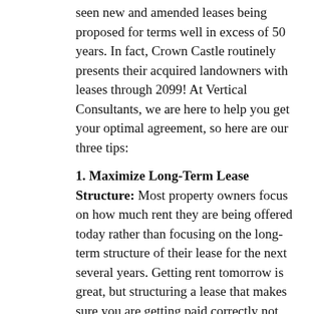seen new and amended leases being proposed for terms well in excess of 50 years. In fact, Crown Castle routinely presents their acquired landowners with leases through 2099! At Vertical Consultants, we are here to help you get your optimal agreement, so here are our three tips:
1. Maximize Long-Term Lease Structure: Most property owners focus on how much rent they are being offered today rather than focusing on the long-term structure of their lease for the next several years. Getting rent tomorrow is great, but structuring a lease that makes sure you are getting paid correctly not only tomorrow, but for the next 10, 20 or even 30 years is even better. This is not limited to just